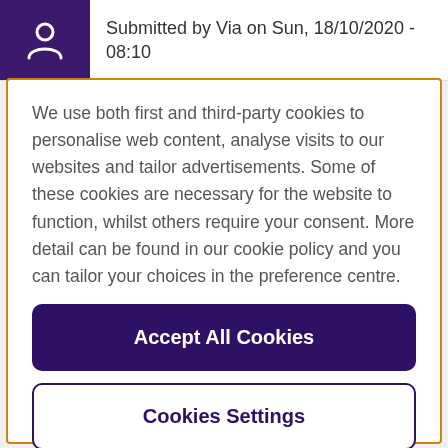Submitted by Via on Sun, 18/10/2020 - 08:10
We use both first and third-party cookies to personalise web content, analyse visits to our websites and tailor advertisements. Some of these cookies are necessary for the website to function, whilst others require your consent. More detail can be found in our cookie policy and you can tailor your choices in the preference centre.
Accept All Cookies
Cookies Settings